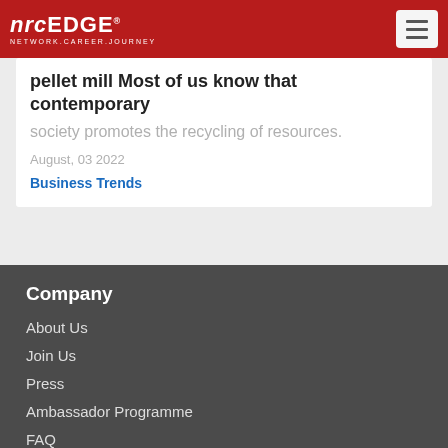nrgEDGE — NETWORK.CAREER.JOURNEY
pellet mill  Most of us know that  contemporary society  promotes the recycling of resources.
August, 03 2022
Business Trends
Company
About Us
Join Us
Press
Ambassador Programme
FAQ